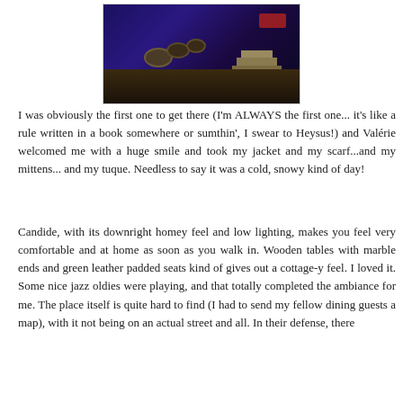[Figure (photo): Concert stage photo showing drum kit and musical equipment on a dark stage with purple/blue ambient lighting, steps to the side, and a red object in the upper right corner.]
I was obviously the first one to get there (I'm ALWAYS the first one... it's like a rule written in a book somewhere or sumthin', I swear to Heysus!) and Valérie welcomed me with a huge smile and took my jacket and my scarf...and my mittens... and my tuque. Needless to say it was a cold, snowy kind of day!
Candide, with its downright homey feel and low lighting, makes you feel very comfortable and at home as soon as you walk in. Wooden tables with marble ends and green leather padded seats kind of gives out a cottage-y feel. I loved it. Some nice jazz oldies were playing, and that totally completed the ambiance for me. The place itself is quite hard to find (I had to send my fellow dining guests a map), with it not being on an actual street and all. In their defense, there